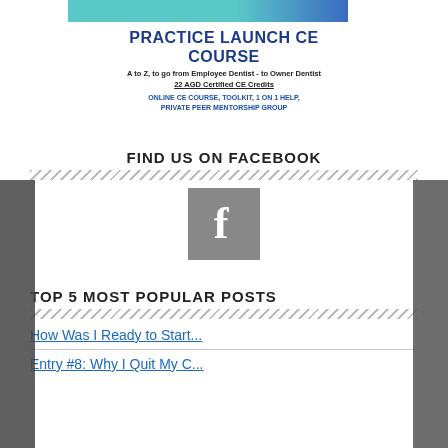[Figure (illustration): Top banner with teal and blue gradient background, partial dental/person image]
PRACTICE LAUNCH CE COURSE
A to Z, to go from Employee Dentist - to Owner Dentist
22 AGD Certified CE Credits
ONLINE CE COURSE, TOOLKIT, 1 ON 1 HELP, PRIVATE PEER MENTORSHIP GROUP
FIND US ON FACEBOOK
[Figure (logo): Facebook logo icon - grey square with white letter f]
TOP 5 MOST POPULAR POSTS
How Was I Ready to Start...
Entry #8: Why I Quit My C...